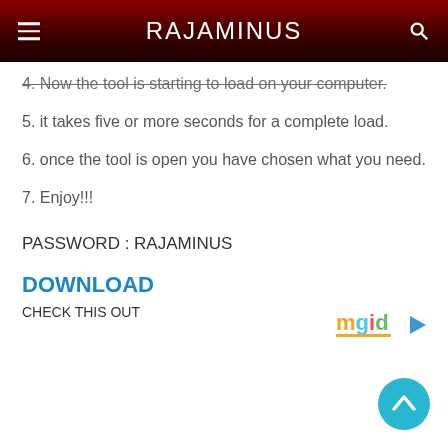RAJAMINUS
4. Now the tool is starting to load on your computer.
5. it takes five or more seconds for a complete load.
6. once the tool is open you have chosen what you need.
7. Enjoy!!!
PASSWORD : RAJAMINUS
DOWNLOAD
CHECK THIS OUT
[Figure (logo): mgid logo with play button icon]
[Figure (other): Scroll to top button - teal circle with upward chevron arrow]